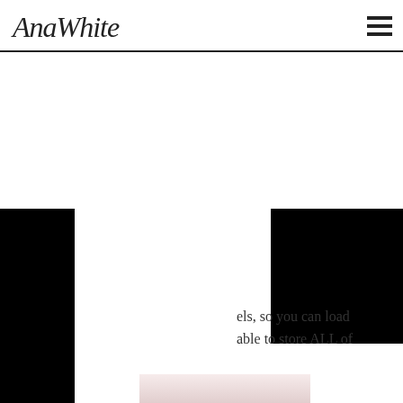AnaWhite
[Figure (screenshot): Volvo XC40 Recharge Pure Electric advertisement showing the car with colour options and an order button, overlaid with black bars on left and right]
els, so you can load able to store ALL of